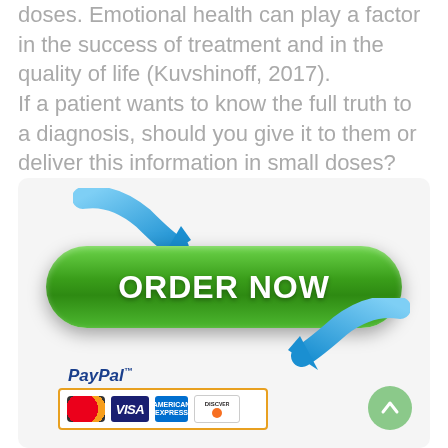doses. Emotional health can play a factor in the success of treatment and in the quality of life (Kuvshinoff, 2017). If a patient wants to know the full truth to a diagnosis, should you give it to them or deliver this information in small doses?
[Figure (infographic): Order Now button with blue arrows and PayPal/credit card payment logos]